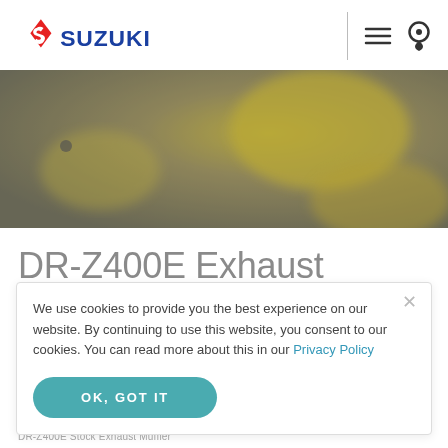SUZUKI
[Figure (photo): Close-up photo of yellow motorcycle exhaust parts against a grey/gold blurred background]
DR-Z400E Exhaust Baffle Insert
We use cookies to provide you the best experience on our website. By continuing to use this website, you consent to our cookies. You can read more about this in our Privacy Policy
OK, GOT IT
DR-Z400E Stock Exhaust Muffler